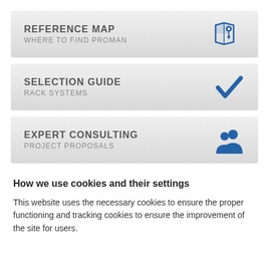[Figure (infographic): Banner button: REFERENCE MAP / WHERE TO FIND PROMAN with a blue map/pin icon]
[Figure (infographic): Banner button: SELECTION GUIDE / RACK SYSTEMS with a blue checkmark icon]
[Figure (infographic): Banner button: EXPERT CONSULTING / PROJECT PROPOSALS with a blue people/team icon]
How we use cookies and their settings
This website uses the necessary cookies to ensure the proper functioning and tracking cookies to ensure the improvement of the site for users.